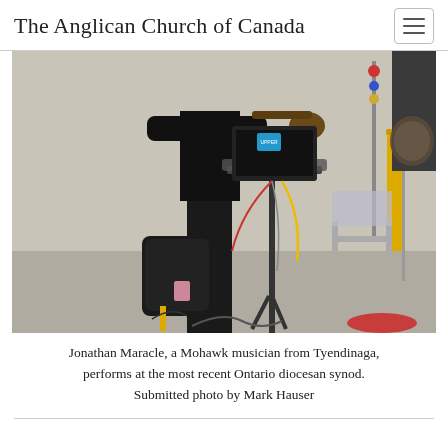The Anglican Church of Canada
[Figure (photo): A person (Jonathan Maracle, a Mohawk musician) standing at a music stand with a laptop on it, playing guitar, with a backpack on the floor and various instruments visible in the background at an Ontario diocesan synod.]
Jonathan Maracle, a Mohawk musician from Tyendinaga, performs at the most recent Ontario diocesan synod. Submitted photo by Mark Hauser